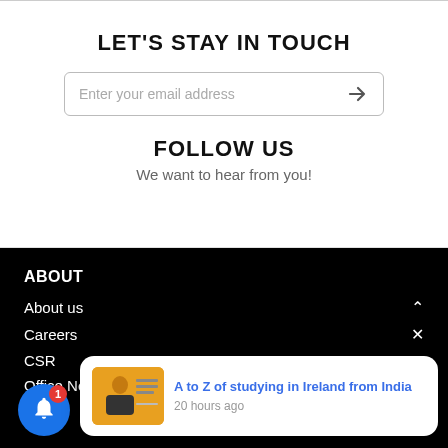LET'S STAY IN TOUCH
Enter your email address
FOLLOW US
We want to hear from you!
ABOUT
About us
Careers
CSR
Office Network
Indian
A to Z of studying in Ireland from India
20 hours ago